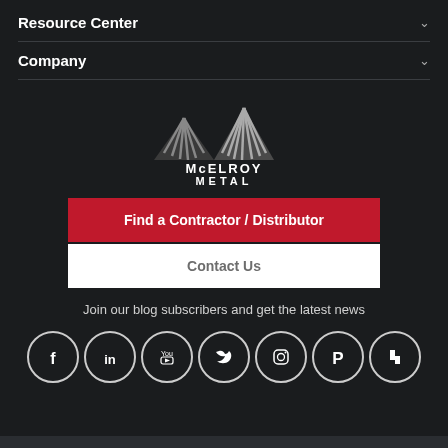Resource Center
Company
[Figure (logo): McElroy Metal logo with stylized mountain/roof shape graphic above text 'McELROY METAL']
Find a Contractor / Distributor
Contact Us
Join our blog subscribers and get the latest news
[Figure (infographic): Row of 7 social media icon circles: Facebook, LinkedIn, YouTube, Twitter, Instagram, Pinterest, Houzz]